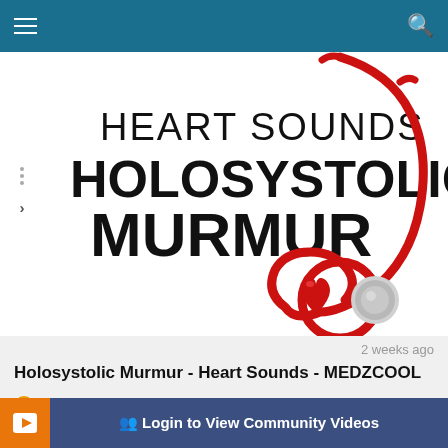Navigation bar with hamburger menu and search icon
[Figure (illustration): Medical education video thumbnail showing text 'HEART SOUNDS HOLOSYSTOLIC MURMUR' on white background with a red stethoscope and red heart illustration]
2 weeks ago
Holosystolic Murmur - Heart Sounds - MEDZCOOL
Cardiovascular - Visitor Home
7 views
0.0  ★ ★ ★ ★ ★  (0)
Login to View Community Videos